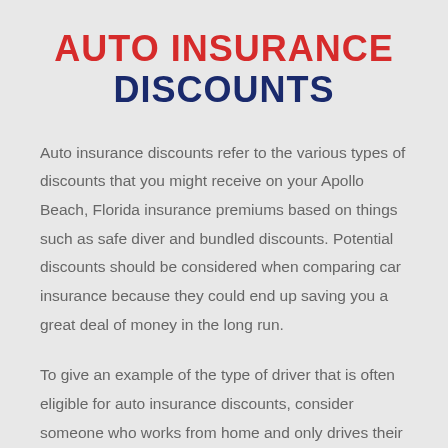AUTO INSURANCE DISCOUNTS
Auto insurance discounts refer to the various types of discounts that you might receive on your Apollo Beach, Florida insurance premiums based on things such as safe diver and bundled discounts. Potential discounts should be considered when comparing car insurance because they could end up saving you a great deal of money in the long run.
To give an example of the type of driver that is often eligible for auto insurance discounts, consider someone who works from home and only drives their